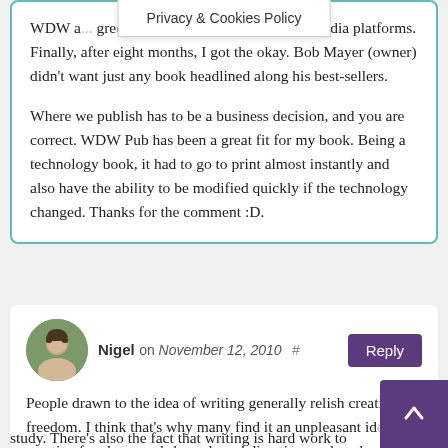WDW a[...] green. I had to prove I could t[...] al media platforms. Finally, after eight months, I got the okay. Bob Mayer (owner) didn't want just any book headlined along his best-sellers.
Where we publish has to be a business decision, and you are correct. WDW Pub has been a great fit for my book. Being a technology book, it had to go to print almost instantly and also have the ability to be modified quickly if the technology changed. Thanks for the comment :D.
Nigel on November 12, 2010 # Reply
People drawn to the idea of writing generally relish creative freedom. I think that's why many find it an unpleasant ide[a that] creative freedom needs bounds and direction, and so do[...] inclined to put the fun creative stuff down for a while an[d] study. There's also the fact that writing is hard work to start...